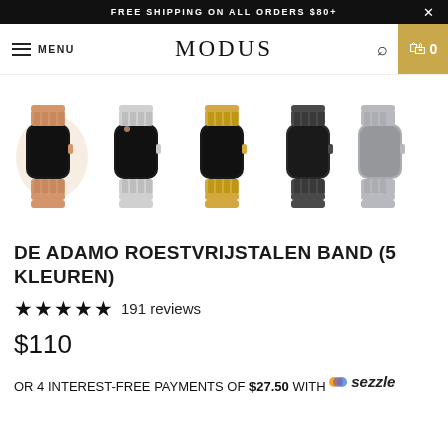FREE SHIPPING ON ALL ORDERS $80+
MODUS — MENU, Search, Cart 0
[Figure (photo): Five Apple Watch models wearing metal link bands in different colors: rose gold, silver, gold, space gray/dark gray, and blue/gray. Displayed side by side.]
DE ADAMO ROESTVRIJSTALEN BAND (5 KLEUREN)
★★★★★ 191 reviews
$110
OR 4 INTEREST-FREE PAYMENTS OF $27.50 WITH sezzle